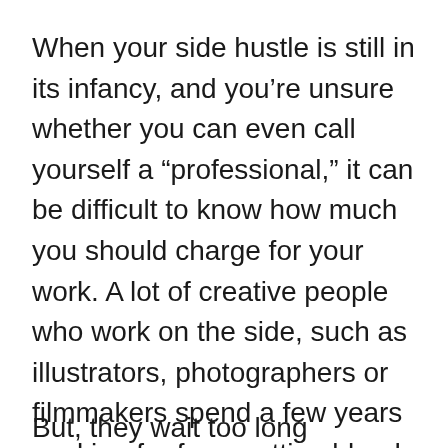When your side hustle is still in its infancy, and you’re unsure whether you can even call yourself a “professional,” it can be difficult to know how much you should charge for your work. A lot of creative people who work on the side, such as illustrators, photographers or filmmakers spend a few years working for free, putting blood, sweat, and tears into their hobby with the ambition of one day gaining some profit out of it.
But, they wait too long